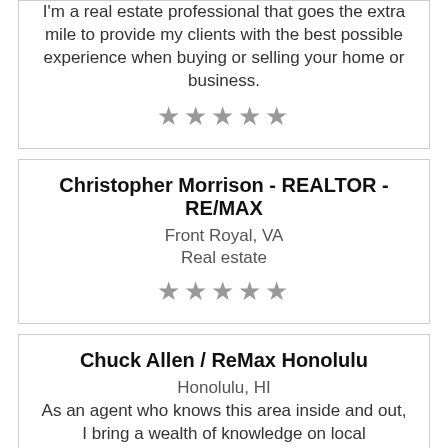I'm a real estate professional that goes the extra mile to provide my clients with the best possible experience when buying or selling your home or business.
★★★★★
Christopher Morrison - REALTOR - RE/MAX
Front Royal, VA
Real estate
★★★★★
Chuck Allen / ReMax Honolulu
Honolulu, HI
As an agent who knows this area inside and out, I bring a wealth of knowledge on local communities, current market conditions, and more.
★★★★★